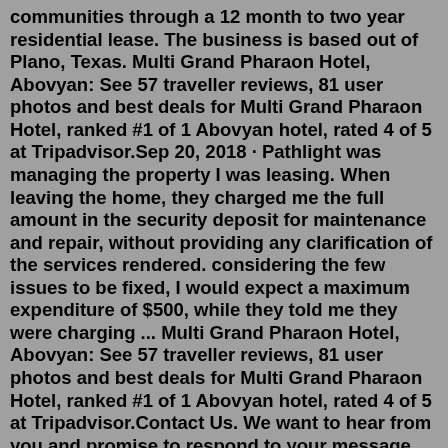communities through a 12 month to two year residential lease. The business is based out of Plano, Texas. Multi Grand Pharaon Hotel, Abovyan: See 57 traveller reviews, 81 user photos and best deals for Multi Grand Pharaon Hotel, ranked #1 of 1 Abovyan hotel, rated 4 of 5 at Tripadvisor.Sep 20, 2018 · Pathlight was managing the property I was leasing. When leaving the home, they charged me the full amount in the security deposit for maintenance and repair, without providing any clarification of the services rendered. considering the few issues to be fixed, I would expect a maximum expenditure of $500, while they told me they were charging ... Multi Grand Pharaon Hotel, Abovyan: See 57 traveller reviews, 81 user photos and best deals for Multi Grand Pharaon Hotel, ranked #1 of 1 Abovyan hotel, rated 4 of 5 at Tripadvisor.Contact Us. We want to hear from you and promise to respond to your message within one business day. Email us at info@pathlightgroup.org or call: Springfield: 413~732~0531. Greenfield: 413~774~3495. Pittsfield: 413~443~4780.